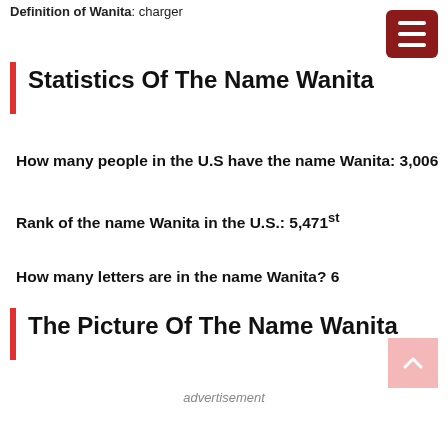Definition of Wanita: charger
Statistics Of The Name Wanita
How many people in the U.S have the name Wanita: 3,006
Rank of the name Wanita in the U.S.: 5,471st
How many letters are in the name Wanita? 6
The Picture Of The Name Wanita
advertisement